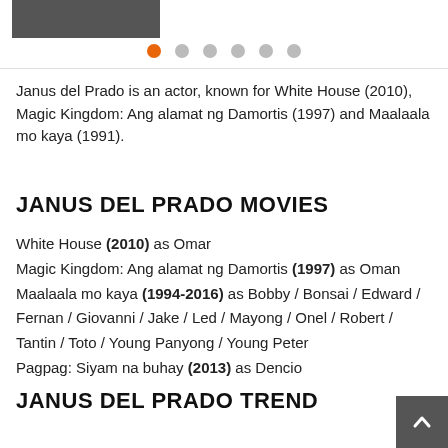[Figure (photo): Partial photo strip at top of page showing a person, cropped]
Janus del Prado is an actor, known for White House (2010), Magic Kingdom: Ang alamat ng Damortis (1997) and Maalaala mo kaya (1991).
JANUS DEL PRADO MOVIES
White House (2010) as Omar
Magic Kingdom: Ang alamat ng Damortis (1997) as Oman
Maalaala mo kaya (1994-2016) as Bobby / Bonsai / Edward / Fernan / Giovanni / Jake / Led / Mayong / Onel / Robert / Tantin / Toto / Young Panyong / Young Peter
Pagpag: Siyam na buhay (2013) as Dencio
JANUS DEL PRADO TREND